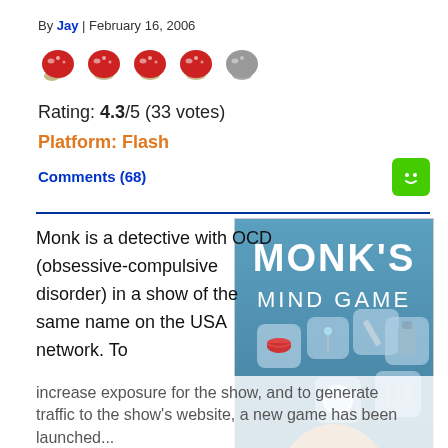By Jay | February 16, 2006
[Figure (illustration): Five mushroom rating icons: four red mushrooms and one grey mushroom indicating a 4.3 out of 5 star-style rating]
Rating: 4.3/5 (33 votes)
Platform: Flash
Comments (68)
[Figure (photo): Promotional image for Monk's Mind Game Flash game featuring the title 'MONK'S MIND GAME' in white text on a teal background, with floating items (lips, pin, pencil, flask, mirror, nails) and a close-up of a man's face looking up]
Monk is a detective with OCD (obsessive-compulsive disorder) in a show of the same name on the USA network. To increase exposure for the show, and to generate traffic to the show's website, a new game has been launched...